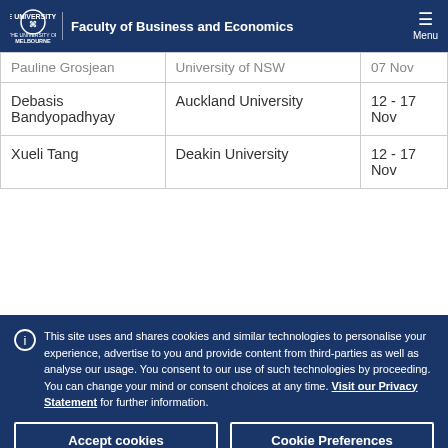Faculty of Business and Economics
| Name | University | Date |
| --- | --- | --- |
| Pauline Grosjean | University of NSW | 07 Nov |
| Debasis Bandyopadhyay | Auckland University | 12 - 17 Nov |
| Xueli Tang | Deakin University | 12 - 17 Nov |
This site uses and shares cookies and similar technologies to personalise your experience, advertise to you and provide content from third-parties as well as analyse our usage. You consent to our use of such technologies by proceeding. You can change your mind or consent choices at any time. Visit our Privacy Statement for further information.
Accept cookies
Cookie Preferences